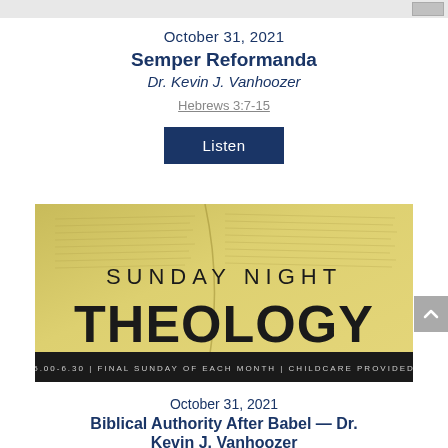[Figure (screenshot): Partial top navigation bar screenshot]
October 31, 2021
Semper Reformanda
Dr. Kevin J. Vanhoozer
Hebrews 3:7-15
Listen
[Figure (illustration): Sunday Night Theology promotional image with open Bible background. Text reads: SUNDAY NIGHT THEOLOGY. 5.00-6.30 | FINAL SUNDAY OF EACH MONTH | CHILDCARE PROVIDED]
October 31, 2021
Biblical Authority After Babel — Dr. Kevin J. Vanhoozer